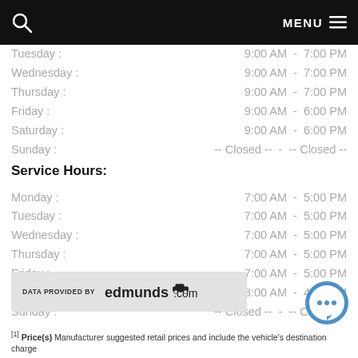MENU
Tuesday : 9:00 AM - 7:00 PM
Wednesday : 9:00 AM - 7:00 PM
Thursday : 9:00 AM - 7:00 PM
Friday : 9:00 AM - 6:00 PM
Saturday : 9:00 AM - 6:00 PM
Sunday : -- Closed -- - -- Closed --
Service Hours:
Monday : 7:00 AM - 5:00 PM
Tuesday : 7:00 AM - 5:00 PM
Wednesday : 7:00 AM - 5:00 PM
Thursday : 7:00 AM - 5:00 PM
Friday : 7:00 AM - 5:00 PM
Saturday : 8:00 AM - 4:00 PM
Sunday : -- Closed -- - -- Closed --
[Figure (logo): DATA PROVIDED BY edmunds.com logo banner]
[1] Price(s) Manufacturer suggested retail prices and include the vehicle's destination charge